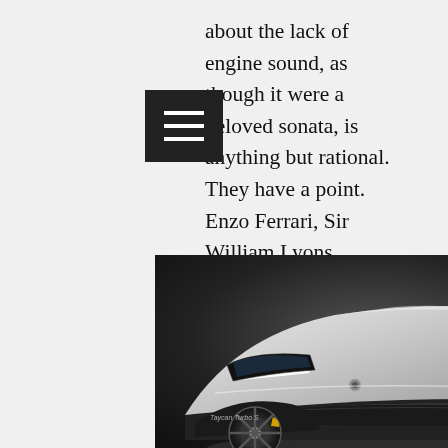about the lack of engine sound, as though it were a beloved sonata, is anything but rational. They have a point. Enzo Ferrari, Sir William Lyons, Vincenzo Lancia, automobile ers behind some of the most celebrated cars, shared a passion for pushing the boundaries of engineering and aesthetics. The resulting sounds made by their creations were merely a (pleasing) by-
[Figure (photo): Front three-quarter view of a silver Porsche Taycan Turbo S electric sports car on a dark studio background, showing LED headlights, front bumper, and yellow brake calipers visible through black multi-spoke wheels.]